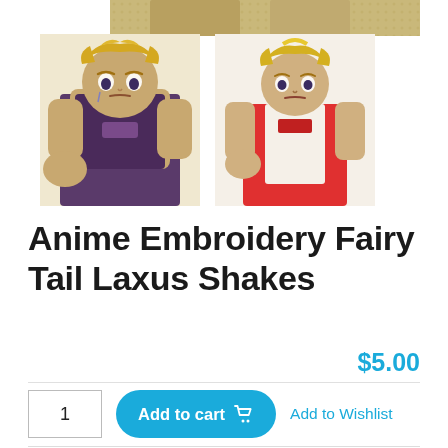[Figure (illustration): Anime illustration of Laxus character from Fairy Tail, shown in two thumbnail views — left: larger image with character in dark vest punching forward, blonde spiky hair; right: smaller image of same character in red/white outfit punching forward. Top strip showing additional cropped artwork.]
Anime Embroidery Fairy Tail Laxus Shakes
$5.00
1  Add to cart 🛒  Add to Wishlist
Categories: Anime, Fairy Tail, Men Collection Tags: anime, Fairy Tail, Laxus
Description